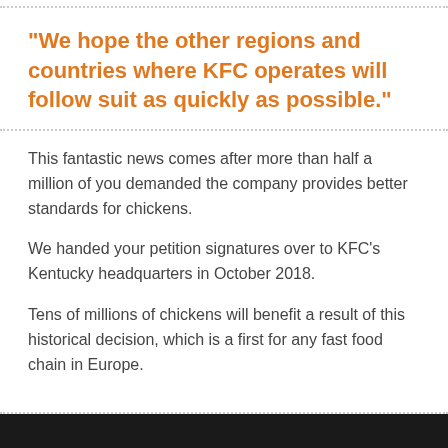"We hope the other regions and countries where KFC operates will follow suit as quickly as possible."
This fantastic news comes after more than half a million of you demanded the company provides better standards for chickens.
We handed your petition signatures over to KFC's Kentucky headquarters in October 2018.
Tens of millions of chickens will benefit a result of this historical decision, which is a first for any fast food chain in Europe.
[Figure (other): Dark/black bar at the bottom of the page, appears to be the top of an image]